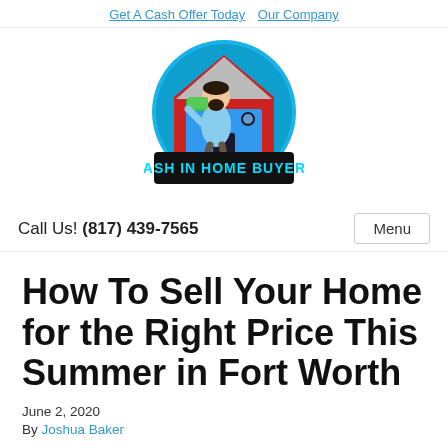Get A Cash Offer Today   Our Company
[Figure (logo): Cash In Home Buyers logo: cartoon man holding cash in front of a house, circular badge with cyan and red colors, text 'CASH IN HOME BUYERS' on a black banner at the bottom]
Call Us! (817) 439-7565
Menu
How To Sell Your Home for the Right Price This Summer in Fort Worth
June 2, 2020
By Joshua Baker